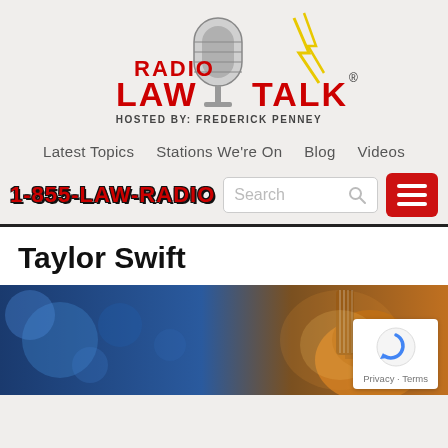[Figure (logo): Radio Law Talk logo with microphone graphic and text 'RADIO LAW TALK HOSTED BY: FREDERICK PENNEY']
Latest Topics  Stations We're On  Blog  Videos
1-855-LAW-RADIO
Taylor Swift
[Figure (photo): Background image with blue bokeh lights on left and acoustic guitar on right with warm orange/brown tones]